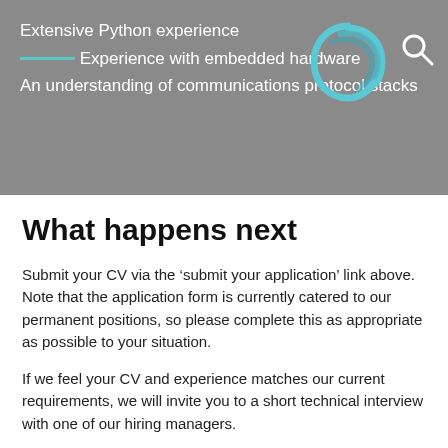Extensive Python experience
Experience with embedded hardware
An understanding of communications protocol stacks
What happens next
Submit your CV via the ‘submit your application’ link above. Note that the application form is currently catered to our permanent positions, so please complete this as appropriate as possible to your situation.
If we feel your CV and experience matches our current requirements, we will invite you to a short technical interview with one of our hiring managers.